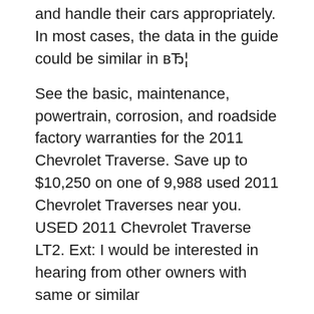and handle their cars appropriately. In most cases, the data in the guide could be similar in вЂ¦
See the basic, maintenance, powertrain, corrosion, and roadside factory warranties for the 2011 Chevrolet Traverse. Save up to $10,250 on one of 9,988 used 2011 Chevrolet Traverses near you. USED 2011 Chevrolet Traverse LT2. Ext: I would be interested in hearing from other owners with same or similar
2020 Chevrolet Traverse Release Date. It is important to recognize how the best approach to push in order that the engine is properly groomed, and of course you could possibly get it from 2020 Chevrolet Traverse Owners Manual.